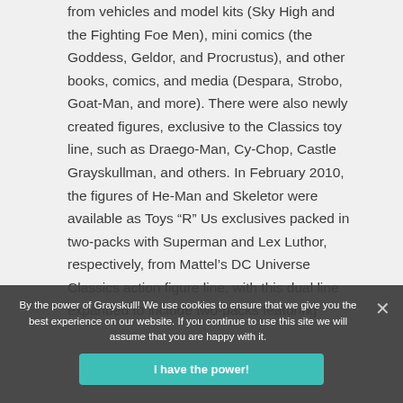from vehicles and model kits (Sky High and the Fighting Foe Men), mini comics (the Goddess, Geldor, and Procrustus), and other books, comics, and media (Despara, Strobo, Goat-Man, and more). There were also newly created figures, exclusive to the Classics toy line, such as Draego-Man, Cy-Chop, Castle Grayskullman, and others. In February 2010, the figures of He-Man and Skeletor were available as Toys “R” Us exclusives packed in two-packs with Superman and Lex Luthor, respectively, from Mattel’s DC Universe Classics action figure line, with this dual line expanded to include two-packs featuring
By the power of Grayskull! We use cookies to ensure that we give you the best experience on our website. If you continue to use this site we will assume that you are happy with it.
I have the power!